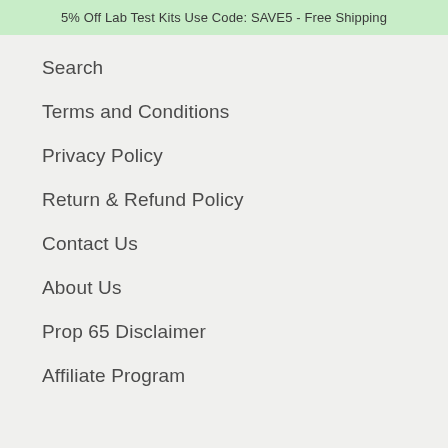5% Off Lab Test Kits Use Code: SAVE5 - Free Shipping
Search
Terms and Conditions
Privacy Policy
Return & Refund Policy
Contact Us
About Us
Prop 65 Disclaimer
Affiliate Program